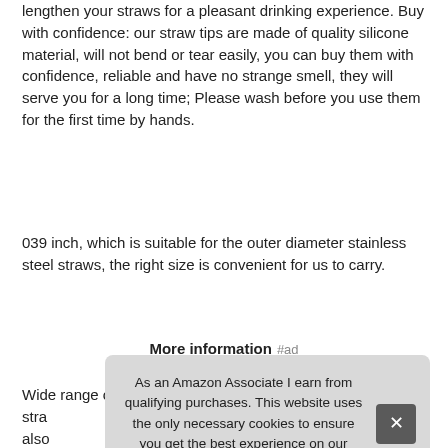lengthen your straws for a pleasant drinking experience. Buy with confidence: our straw tips are made of quality silicone material, will not bend or tear easily, you can buy them with confidence, reliable and have no strange smell, they will serve you for a long time; Please wash before you use them for the first time by hands.
039 inch, which is suitable for the outer diameter stainless steel straws, the right size is convenient for us to carry.
More information #ad
Wide range of applications: you can take the silicone tips for stra also suc not
As an Amazon Associate I earn from qualifying purchases. This website uses the only necessary cookies to ensure you get the best experience on our website. More information